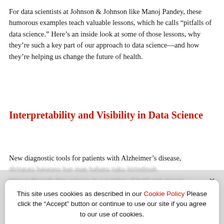For data scientists at Johnson & Johnson like Manoj Pandey, these humorous examples teach valuable lessons, which he calls "pitfalls of data science." Here's an inside look at some of those lessons, why they're such a key part of our approach to data science—and how they're helping us change the future of health.
Interpretability and Visibility in Data Science
New diagnostic tools for patients with Alzheimer's disease, ...
[Figure (screenshot): Cookie consent banner overlay with 'Reject' and 'Accept' buttons and a close (X) icon. Text reads: 'This site uses cookies as described in our Cookie Policy Please click the "Accept" button or continue to use our site if you agree to our use of cookies.']